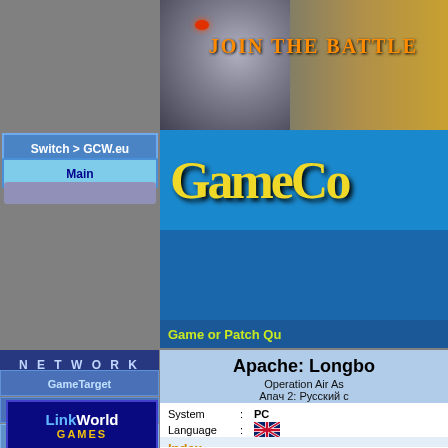[Figure (screenshot): Top banner with fantasy/game art showing a warrior face with glowing red eye and text 'Join the Battle']
Switch > GCW.eu
Main
[Figure (logo): GameCopyWorld logo in yellow stylized font on blue background]
Game or Patch Qu
N E T W O R K
GameTarget
Console CopyWorld
Cover Target
CD Media World
LinkWorld
Music Target
CD/DVD Utilities
[Figure (logo): LinkWorld Games logo - blue background with yellow GAMES text]
Apache: Longbo
Operation Air As
Апач 2: Русский с
| System | : | PC |
| Language | : | (UK flag) |
| Protection | : | CD-Checks |
| CD Cover | : | Cover Target |
Index
Game Fixes: